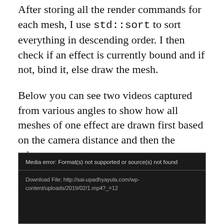After storing all the render commands for each mesh, I use std::sort to sort everything in descending order. I then check if an effect is currently bound and if not, bind it, else draw the mesh.
Below you can see two videos captured from various angles to show how all meshes of one effect are drawn first based on the camera distance and then the others.
[Figure (screenshot): Media player error box with dark background showing 'Media error: Format(s) not supported or source(s) not found' and a download link to http://sai-upadhyayula.com/wp-content/uploads/2019/02/1.mp4?_=12, followed by a dark video player area]